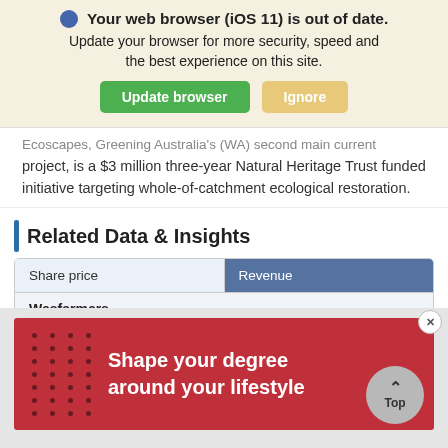Your web browser (iOS 11) is out of date. Update your browser for more security, speed and the best experience on this site. Update browser | Ignore
Ecoscapes, Greening Australia's (WA) second main current project, is a $3 million three-year Natural Heritage Trust funded initiative targeting whole-of-catchment ecological restoration.
Related Data & Insights
| Share price | Revenue |
| --- | --- |
| Wesfarmers |  |
| Closing price for the last 90 trading days |  |
[Figure (infographic): Red advertisement banner with dot pattern on the left and text 'Shape your degree around your lifestyle' in white.]